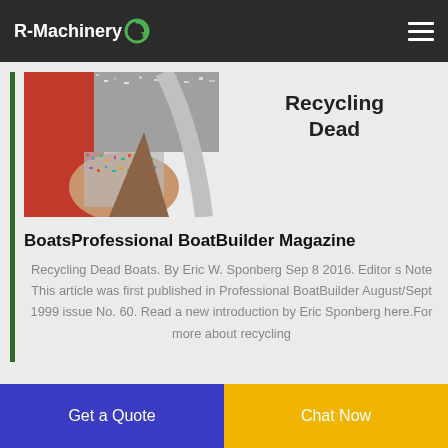R-Machinery
[Figure (photo): Hand holding shredded fiberglass/composite material particles, with orange and grey background]
Recycling Dead
BoatsProfessional BoatBuilder Magazine
Recycling Dead Boats. By Eric W. Sponberg Sep 8 2016. Editor s Note This article was first published in Professional BoatBuilder August/Sept 1999 issue No. 60. Read a new introduction by Eric Sponberg here.For more about recycling